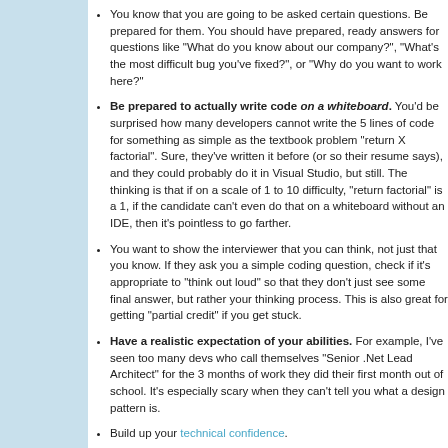You know that you are going to be asked certain questions. Be prepared for them. You should have prepared, ready answers for questions like "What do you know about our company?", "What's the most difficult bug you've fixed?", or "Why do you want to work here?"
Be prepared to actually write code on a whiteboard. You'd be surprised how many developers cannot write the 5 lines of code for something as simple as the textbook problem "return X factorial". Sure, they've written it before (or so their resume says), and they could probably do it in Visual Studio, but still. The thinking is that if on a scale of 1 to 10 difficulty, "return factorial" is a 1, if the candidate can't even do that on a whiteboard without an IDE, then it's pointless to go farther.
You want to show the interviewer that you can think, not just that you know. If they ask you a simple coding question, check if it's appropriate to "think out loud" so that they don't just see some final answer, but rather your thinking process. This is also great for getting "partial credit" if you get stuck.
Have a realistic expectation of your abilities. For example, I've seen too many devs who call themselves "Senior .Net Lead Architect" for the 3 months of work they did their first month out of school. It's especially scary when they can't tell you what a design pattern is.
Build up your technical confidence.
Everyone has "project experience", and eventually they all blur together. Be prepared to emphasize your extracurricular activities.
Know some of the industry terms and buzzwords.